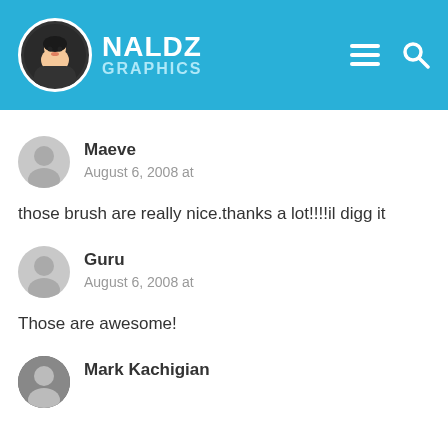NALDZ GRAPHICS
Maeve
August 6, 2008 at
those brush are really nice.thanks a lot!!!!il digg it
Guru
August 6, 2008 at
Those are awesome!
Mark Kachigian